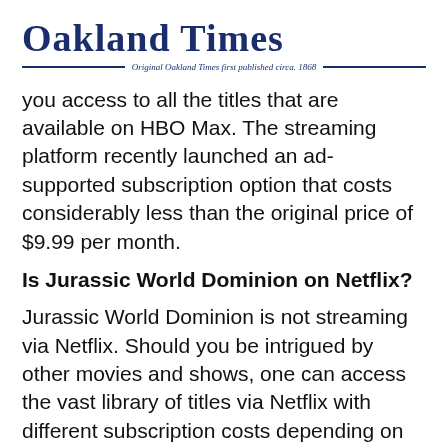Oakland Times — Original Oakland Times first published circa. 1868
you access to all the titles that are available on HBO Max. The streaming platform recently launched an ad-supported subscription option that costs considerably less than the original price of $9.99 per month.
Is Jurassic World Dominion on Netflix?
Jurassic World Dominion is not streaming via Netflix. Should you be intrigued by other movies and shows, one can access the vast library of titles via Netflix with different subscription costs depending on the plan you choose: $9.99 per month for the basic plan. $15.99 every month with the basic plan. $19.99 each month for premium plans.
You can stream Jurassic World: Dominion movie